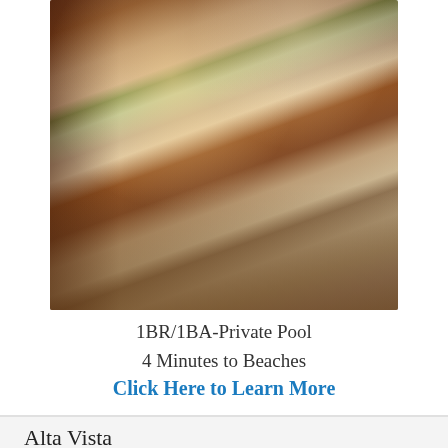[Figure (photo): Interior kitchen photo showing dark wood cabinets, granite countertop island with place settings and wine glasses, stainless steel appliances, tile backsplash, and wicker bar stools.]
1BR/1BA-Private Pool
4 Minutes to Beaches
Click Here to Learn More
Alta Vista